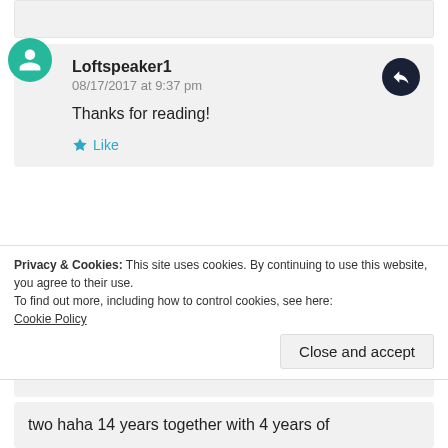[partial comment card, cut off at top]
Loftspeaker1
08/17/2017 at 9:37 pm

Thanks for reading!

★ Like
CAROL
08/18/2017 at 9:53 am

I am sorry for your losses. It is definitely hard
Privacy & Cookies: This site uses cookies. By continuing to use this website, you agree to their use.
To find out more, including how to control cookies, see here:
Cookie Policy
Close and accept
two haha 14 years together with 4 years of